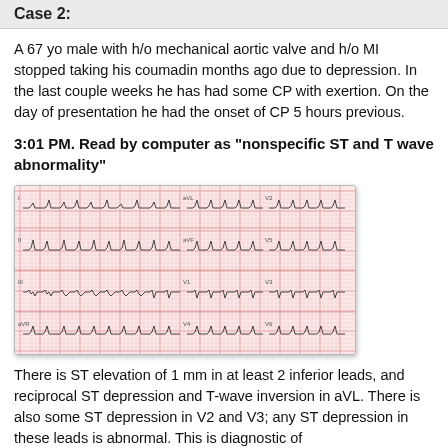Case 2:
A 67 yo male with h/o mechanical aortic valve and h/o MI stopped taking his coumadin months ago due to depression. In the last couple weeks he has had some CP with exertion. On the day of presentation he had the onset of CP 5 hours previous.
3:01 PM. Read by computer as "nonspecific ST and T wave abnormality"
[Figure (other): ECG/EKG tracing on pink graph paper showing cardiac waveforms across multiple leads]
There is ST elevation of 1 mm in at least 2 inferior leads, and reciprocal ST depression and T-wave inversion in aVL. There is also some ST depression in V2 and V3; any ST depression in these leads is abnormal. This is diagnostic of